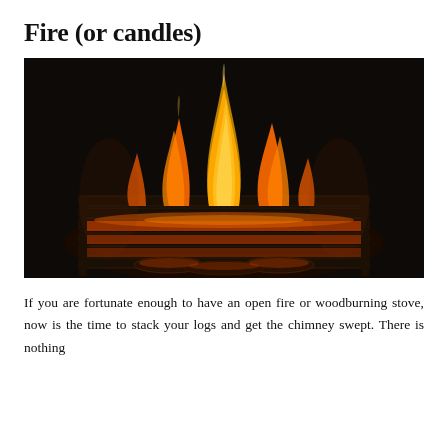Fire (or candles)
[Figure (photo): A dark photograph of a roaring fire in a fireplace grate, with bright orange and yellow flames rising against a black background. Logs and embers are visible in the grate below the flames.]
If you are fortunate enough to have an open fire or woodburning stove, now is the time to stack your logs and get the chimney swept. There is nothing